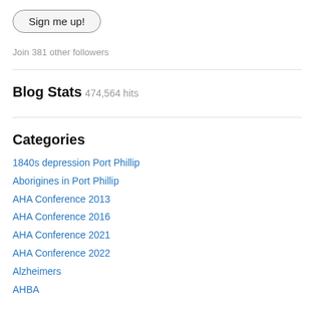Sign me up!
Join 381 other followers
Blog Stats
474,564 hits
Categories
1840s depression Port Phillip
Aborigines in Port Phillip
AHA Conference 2013
AHA Conference 2016
AHA Conference 2021
AHA Conference 2022
Alzheimers
AHBA…